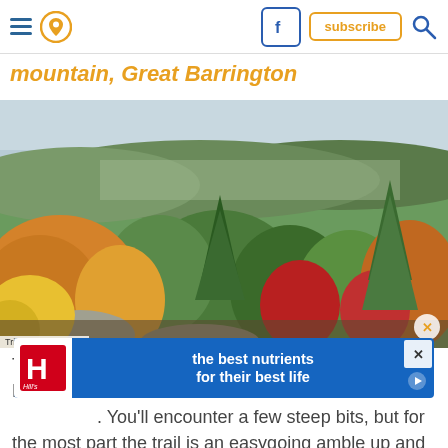Navigation bar with hamburger menu, location pin icon, Facebook icon, subscribe button, and search icon
mountain, Great Barrington
[Figure (photo): Autumn foliage panorama from a hilltop or mountain viewpoint. Colorful fall trees (orange, red, yellow, green) in the foreground with a broad valley and distant hills visible in the background under an overcast sky.]
Tripadvisor/dibird50
[Figure (other): Advertisement banner for Hill's Pet Nutrition featuring logo and text 'the best nutrients for their best life' with a play button]
This lov... s of the Housatonic River Valley and the southern Berkshires. You'll encounter a few steep bits, but for the most part the trail is an easygoing amble up and down the mountain. Find out